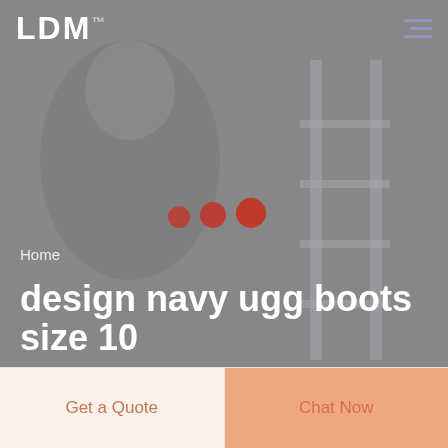LDM
[Figure (photo): Grayscale hero background photo of a person, overlaid with semi-transparent dark gray. Three red dots (loading indicator) centered in mid-image.]
Home
design navy ugg boots size 10
Get a Quote
Chat Now